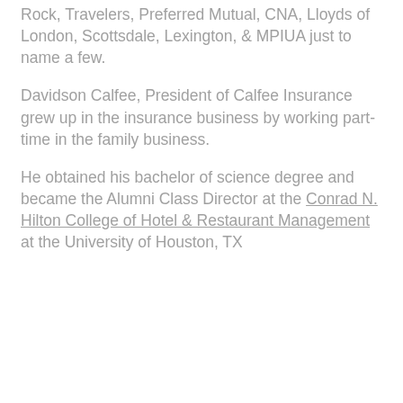Rock, Travelers, Preferred Mutual, CNA, Lloyds of London, Scottsdale, Lexington, & MPIUA just to name a few.
Davidson Calfee, President of Calfee Insurance grew up in the insurance business by working part-time in the family business.
He obtained his bachelor of science degree and became the Alumni Class Director at the Conrad N. Hilton College of Hotel & Restaurant Management at the University of Houston, TX